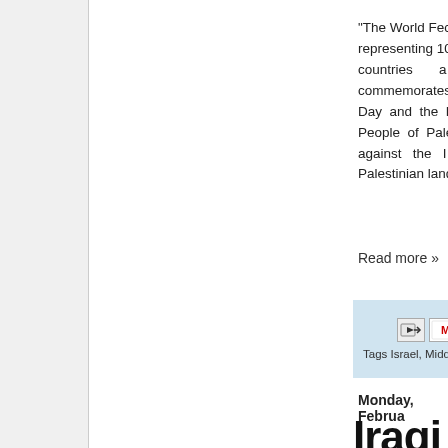"The World Fed... representing 10... countries a... commemorates... Day and the h... People of Pales... against the l... Palestinian land.
Read more »
[Figure (other): Social share bar with email, Gmail, and Blogger icons, and Tags: Israel, Middle...]
Monday, Februa...
Iraqi Co...